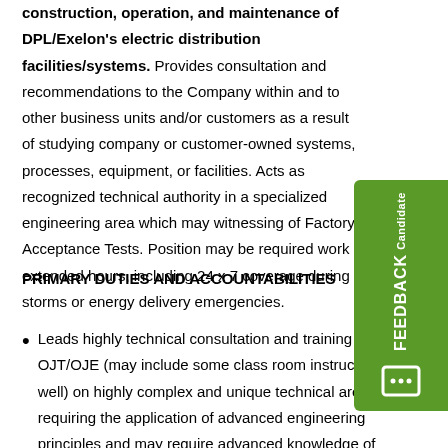construction, operation, and maintenance of DPL/Exelon's electric distribution facilities/systems. Provides consultation and recommendations to the Company within and to other business units and/or customers as a result of studying company or customer-owned systems, processes, equipment, or facilities. Acts as recognized technical authority in a specialized engineering area which may witnessing of Factory Acceptance Tests. Position may be required work extended hours, including 24 x 7 coverage during storms or energy delivery emergencies.
PRIMARY DUTIES AND ACCOUNTABILITIES
Leads highly technical consultation and training through OJT/OJE (may include some class room instruction as well) on highly complex and unique technical areas requiring the application of advanced engineering principles and may require advanced knowledge of complex analog and digital field test